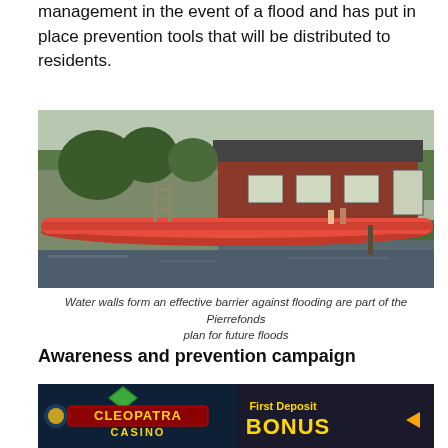management in the event of a flood and has put in place prevention tools that will be distributed to residents.
[Figure (photo): A red inflatable water wall barrier surrounding a red brick house during a flood, with water visible in the foreground and trees in the background.]
Water walls form an effective barrier against flooding are part of the Pierrefonds plan for future floods
Awareness and prevention campaign
[Figure (photo): Cleopatra Casino advertisement banner showing 'First Deposit BONUS' with casino-themed imagery.]